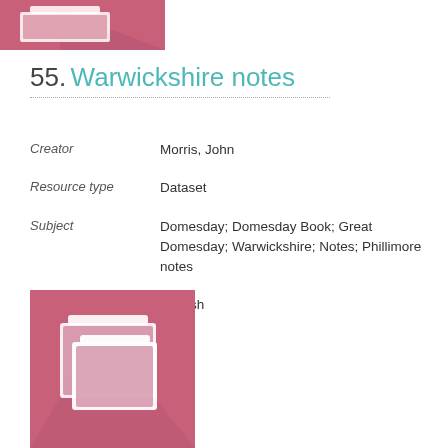[Figure (illustration): Pink/rose colored folder icon partially visible at top of page, cropped]
55. Warwickshire notes
| Field | Value |
| --- | --- |
| Creator | Morris, John |
| Resource type | Dataset |
| Subject | Domesday; Domesday Book; Great Domesday; Warwickshire; Notes; Phillimore notes |
| Language | English |
[Figure (illustration): Pink/rose colored folder icon with shadow effect, showing stacked document folders]